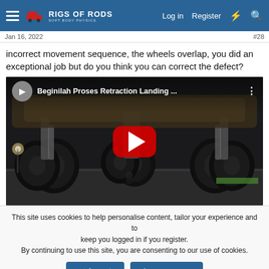RIGS OF RODS — Log in  Register
Jan 16, 2022  #28
incorrect movement sequence, the wheels overlap, you did an exceptional job but do you think you can correct the defect?
[Figure (screenshot): Embedded YouTube video thumbnail showing landing gear retraction of a large aircraft viewed from below, at night on a tarmac. Title reads 'Beginilah Proses Retraction Landing ...' with a red play button overlay.]
This site uses cookies to help personalise content, tailor your experience and to keep you logged in if you register.
By continuing to use this site, you are consenting to our use of cookies.